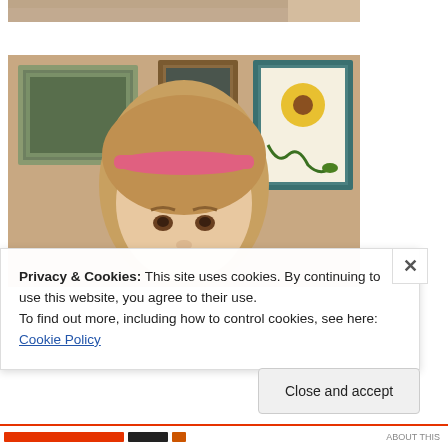[Figure (photo): Partial view of a photo at the top of the page showing the bottom edge of an image with beige/tan tones]
[Figure (photo): Photo of a young girl with straight blonde hair and a pink headband, looking slightly upward. In the background are framed pictures on a beige wall, including one with a sunflower motif.]
Privacy & Cookies: This site uses cookies. By continuing to use this website, you agree to their use.
To find out more, including how to control cookies, see here: Cookie Policy
Close and accept